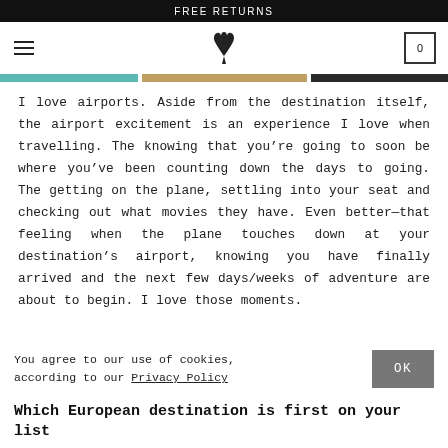FREE RETURNS
[Figure (logo): Deer antler logo with hamburger menu icon and cart icon showing 0]
[Figure (photo): Horizontal image strip showing three partial travel/lifestyle photos]
I love airports. Aside from the destination itself, the airport excitement is an experience I love when travelling. The knowing that you’re going to soon be where you’ve been counting down the days to going. The getting on the plane, settling into your seat and checking out what movies they have. Even better—that feeling when the plane touches down at your destination’s airport, knowing you have finally arrived and the next few days/weeks of adventure are about to begin. I love those moments.
You agree to our use of cookies, according to our Privacy Policy
Which European destination is first on your list